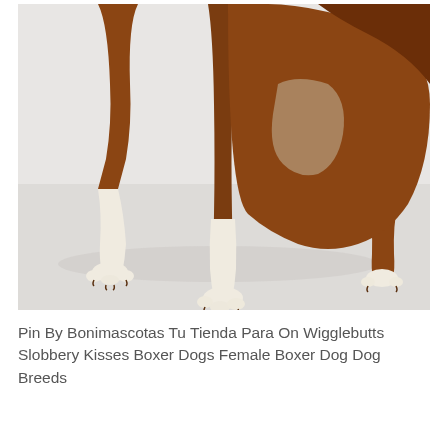[Figure (photo): Close-up photo of a brown and white Boxer dog's legs and paws on a light grey/white background. The image shows three paws on the ground with brown fur legs and white lower legs/paws with dark nails.]
Pin By Bonimascotas Tu Tienda Para On Wigglebutts Slobbery Kisses Boxer Dogs Female Boxer Dog Dog Breeds